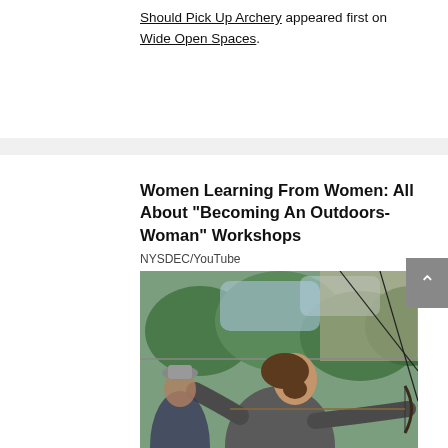Should Pick Up Archery appeared first on Wide Open Spaces.
Women Learning From Women: All About “Becoming An Outdoors-Woman” Workshops
NYSDEC/YouTube
[Figure (photo): A woman in a grey jacket drawing a bow and arrow outdoors, with another person visible in the background, and trees/foliage behind them.]